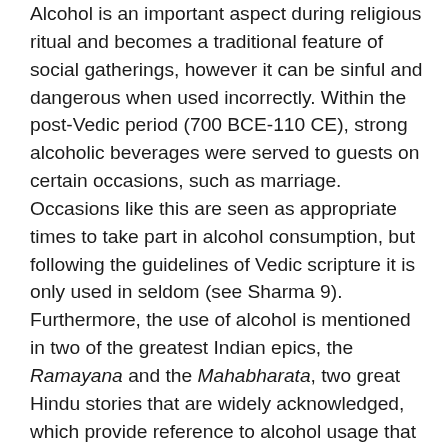Alcohol is an important aspect during religious ritual and becomes a traditional feature of social gatherings, however it can be sinful and dangerous when used incorrectly. Within the post-Vedic period (700 BCE-110 CE), strong alcoholic beverages were served to guests on certain occasions, such as marriage. Occasions like this are seen as appropriate times to take part in alcohol consumption, but following the guidelines of Vedic scripture it is only used in seldom (see Sharma 9). Furthermore, the use of alcohol is mentioned in two of the greatest Indian epics, the Ramayana and the Mahabharata, two great Hindu stories that are widely acknowledged, which provide reference to alcohol usage that the public can respect and incorporate into their personal lives. Within the Ramayana the royal individuals are drinking wine, and many people of Ayodhya are also consuming large amounts of alcohol (Sharma 10). Alcohol is mentioned frequently within the Mahabharta, the demise of the Yadavs (a warrior dynasty) was due to fighting while inebriated (Sharma 10). This epic also mentions that drinking alcohol can be sinful, and alludes to the demise of